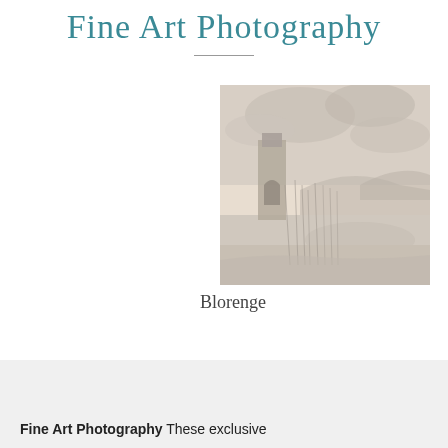Fine Art Photography
[Figure (photo): A sepia-toned fine art photograph of Blorenge, showing a rural landscape with a stone tower or wall structure in the foreground, reeds or tall grasses, a body of water, and rolling hills in the background under a cloudy sky.]
Blorenge
Fine Art Photography These exclusive